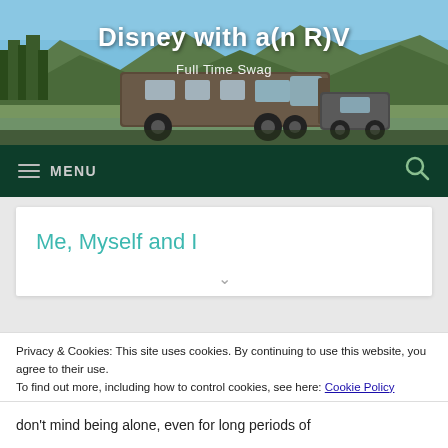[Figure (photo): Website header image showing an RV parked by a lake with mountains and trees in the background under a blue sky]
Disney with a(n R)V
Full Time Swag
MENU
Me, Myself and I
Privacy & Cookies: This site uses cookies. By continuing to use this website, you agree to their use.
To find out more, including how to control cookies, see here: Cookie Policy
Close and accept
don't mind being alone, even for long periods of